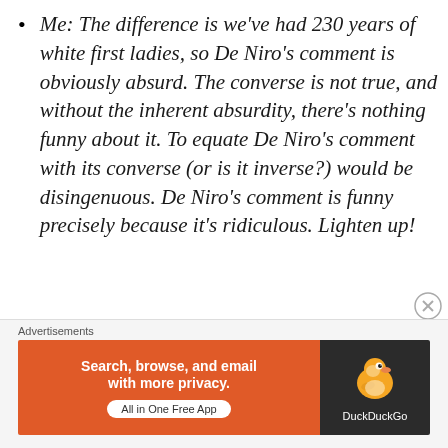Me: The difference is we've had 230 years of white first ladies, so De Niro's comment is obviously absurd. The converse is not true, and without the inherent absurdity, there's nothing funny about it. To equate De Niro's comment with its converse (or is it inverse?) would be disingenuous. De Niro's comment is funny precisely because it's ridiculous. Lighten up!
Friend: Rafi, I get what you're saying. I got the joke when I first read what he said. But to
[Figure (other): DuckDuckGo advertisement banner with orange left section reading 'Search, browse, and email with more privacy. All in One Free App' and dark right section with DuckDuckGo duck logo]